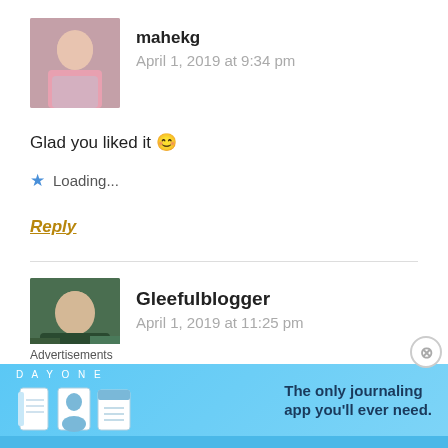[Figure (photo): Avatar photo of mahekg, a person in a pink top]
mahekg
April 1, 2019 at 9:34 pm
Glad you liked it 😊
★ Loading...
Reply
[Figure (photo): Avatar photo of Gleefulblogger, a person outdoors]
Gleefulblogger
April 1, 2019 at 11:25 pm
Advertisements
[Figure (illustration): DAY ONE journaling app advertisement banner with icons and text: The only journaling app you'll ever need.]